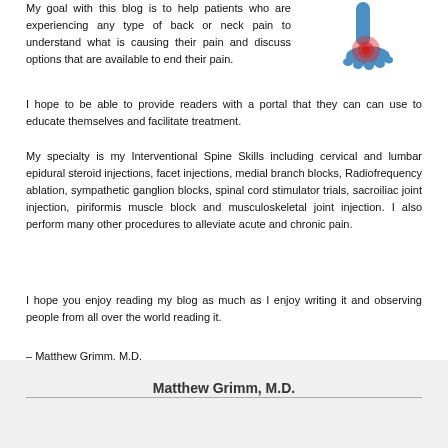My goal with this blog is to help patients who are experiencing any type of back or neck pain to understand what is causing their pain and discuss options that are available to end their pain. I hope to be able to provide readers with a portal that they can can use to educate themselves and facilitate treatment.
[Figure (illustration): Illustration of a human lower leg and foot with a red glowing area at the ankle joint, suggesting pain or inflammation.]
My specialty is my Interventional Spine Skills including cervical and lumbar epidural steroid injections, facet injections, medial branch blocks, Radiofrequency ablation, sympathetic ganglion blocks, spinal cord stimulator trials, sacroiliac joint injection, piriformis muscle block and musculoskeletal joint injection. I also perform many other procedures to alleviate acute and chronic pain.
I hope you enjoy reading my blog as much as I enjoy writing it and observing people from all over the world reading it.
– Matthew Grimm, M.D.
Matthew Grimm, M.D.